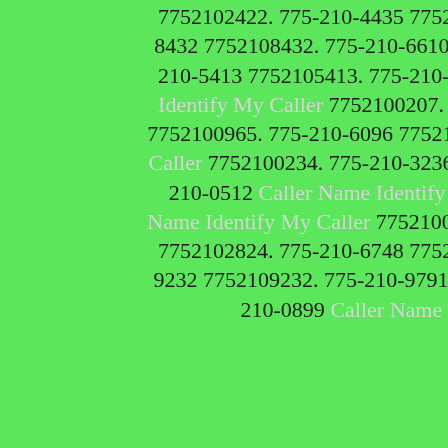7752102422. 775-210-4435 7752104435. 775-210-1027 7752101027. 775-210-8432 7752108432. 775-210-6610 7752106610. 775-210-2110 7752102110. 775-210-5413 7752105413. 775-210-6303 7752106303. 775-210-0207 Caller Name Identify My Caller 7752100207. 775-210-0965 Caller Name Identify My Caller 7752100965. 775-210-6096 7752106096. 775-210-0234 Caller Name Identify My Caller 7752100234. 775-210-3236 7752103236. 775-210-5485 7752105485. 775-210-0512 Caller Name Identify My Caller 7752100512. 775-210-0862 Caller Name Identify My Caller 7752100862. 775-210-9195 7752109195. 775-210-2824 7752102824. 775-210-6748 7752106748. 775-210-1440 7752101440. 775-210-9232 7752109232. 775-210-9791 7752109791. 775-210-3381 7752103381. 775-210-0899 Caller Name Identify My Caller 7752100899. 775-